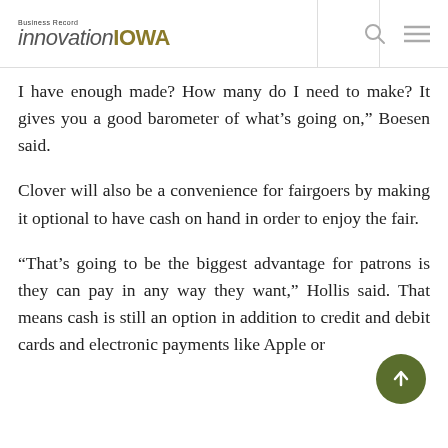Business Record innovationIOWA
I have enough made? How many do I need to make? It gives you a good barometer of what’s going on,” Boesen said.
Clover will also be a convenience for fairgoers by making it optional to have cash on hand in order to enjoy the fair.
“That’s going to be the biggest advantage for patrons is they can pay in any way they want,” Hollis said. That means cash is still an option in addition to credit and debit cards and electronic payments like Apple or